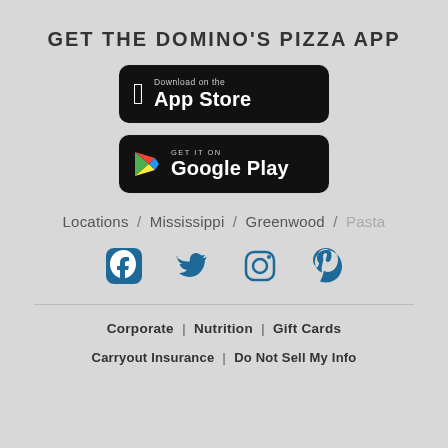GET THE DOMINO'S PIZZA APP
[Figure (logo): Download on the App Store button (black rounded rectangle with Apple logo)]
[Figure (logo): Get it on Google Play button (black rounded rectangle with Google Play triangle logo)]
Locations / Mississippi / Greenwood / Pasta
[Figure (infographic): Social media icons: Facebook, Twitter, Instagram, Tumblr in dark teal/blue]
Corporate | Nutrition | Gift Cards
Carryout Insurance | Do Not Sell My Info